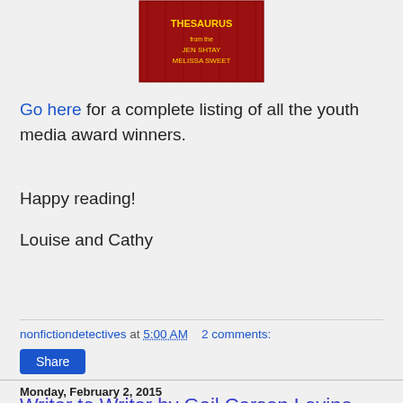[Figure (photo): Book cover of a red thesaurus with gold text]
Go here for a complete listing of all the youth media award winners.
Happy reading!
Louise and Cathy
nonfictiondetectives at 5:00 AM    2 comments:
Share
Monday, February 2, 2015
Writer to Writer by Gail Carson Levine